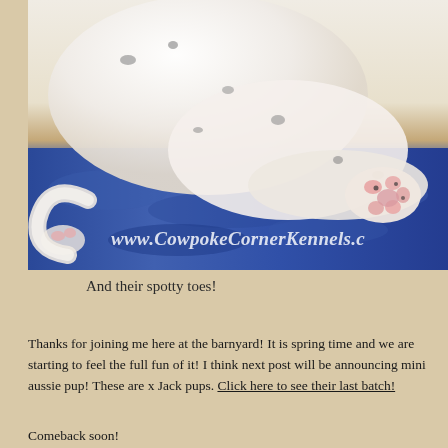[Figure (photo): Close-up photo of a white puppy with dark spots sleeping on a blue fleece blanket, showing spotty paws/toes. Watermark reads www.CowpokeCornerKennels.c]
And their spotty toes!
Thanks for joining me here at the barnyard! It is spring time and we are starting to feel the full fun of it! I think next post will be announcing mini aussie pup! These are x Jack pups. Click here to see their last batch!
Comeback soon!